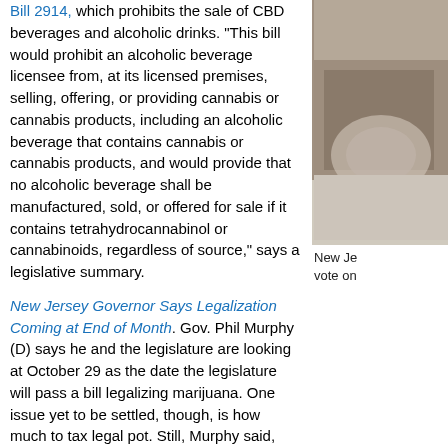Bill 2914, which prohibits the sale of CBD beverages and alcoholic drinks. "This bill would prohibit an alcoholic beverage licensee from, at its licensed premises, selling, offering, or providing cannabis or cannabis products, including an alcoholic beverage that contains cannabis or cannabis products, and would provide that no alcoholic beverage shall be manufactured, sold, or offered for sale if it contains tetrahydrocannabinol or cannabinoids, regardless of source," says a legislative summary.
New Jersey Governor Says Legalization Coming at End of Month. Gov. Phil Murphy (D) says he and the legislature are looking at October 29 as the date the legislature will pass a bill legalizing marijuana. One issue yet to be settled, though, is how much to tax legal pot. Still, Murphy said, October 29 "feels about right."
[Figure (photo): Photo of a blue and white ceramic piece, partially cropped]
New Je... vote on...
Drug Testing
Pennsylvania Representative Proposes Bill to Add Drug Testing of Legislators. Philadelphia County Rep. Angel Cruz (D) has filed House Bill 620 as an amendment to a bill that would mandate drug testing of welfare recipients; Cruz's bill would mandate... one, it's good for all," said Cruz. "The lawmakers are the lawmakers, and we...
Foreign Policy
US Clarifies Policy on Entry of Canadian Marijuana Industry Workers. US Cu... clarified its position on whether Canadians involved in the legal marijuana in...